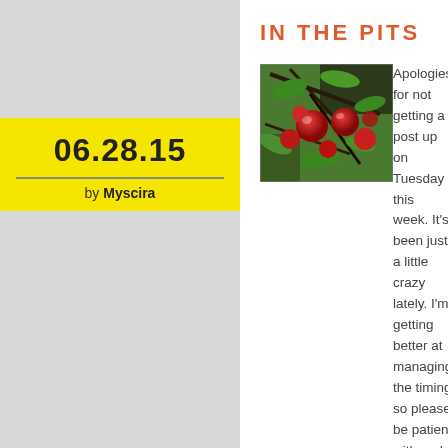06.28.15 by Myscira
IN THE PITS
[Figure (photo): Photo of red cherry-like fruits hanging on branches with green leaves]
Apologies for not getting a post up on Tuesday this week. It's been just a little crazy lately. I'm getting better at managing the timing so please be patient with me! 🙂
Caroline, a colleague, had told me several times about U-picking at Homestead Farm, but I never quite made it to pick...